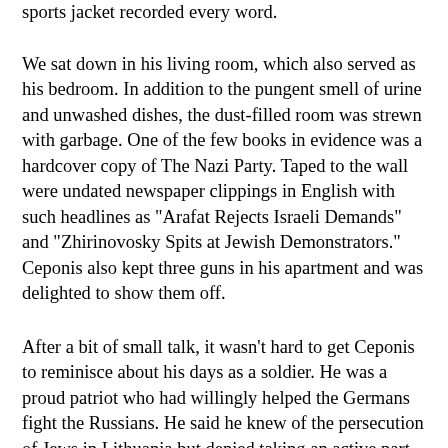sports jacket recorded every word.
We sat down in his living room, which also served as his bedroom. In addition to the pungent smell of urine and unwashed dishes, the dust-filled room was strewn with garbage. One of the few books in evidence was a hardcover copy of The Nazi Party. Taped to the wall were undated newspaper clippings in English with such headlines as "Arafat Rejects Israeli Demands" and "Zhirinovosky Spits at Jewish Demonstrators." Ceponis also kept three guns in his apartment and was delighted to show them off.
After a bit of small talk, it wasn't hard to get Ceponis to reminisce about his days as a soldier. He was a proud patriot who had willingly helped the Germans fight the Russians. He said he knew of the persecution of Jews in Lithuania but denied taking an active part in it, "except" for occasionally amusing himself by pointing a gun at Jews and making them run for their lives. "I caught Jews," he said in his heavily accented English, "and made like to shoot them but said, 'Go!' " He said he saw Jews shot in a town near Vilnius but insisted he did not shoot anyone. Later in the interview, however, he admitted having killed one Jew.